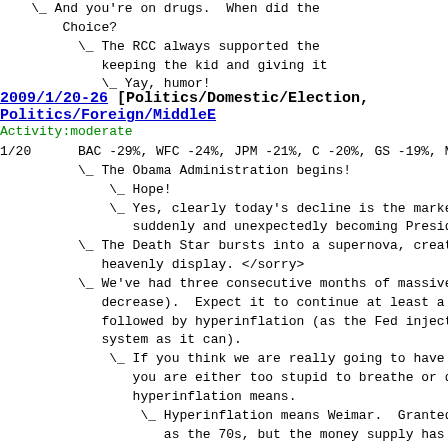\_ And you're on drugs. When did the Choice?
    \_ The RCC always supported the keeping the kid and giving it
        \_ Yay, humor!
2009/1/20-26 [Politics/Domestic/Election, Politics/Foreign/MiddleE... Activity:moderate
1/20  BAC -29%, WFC -24%, JPM -21%, C -20%, GS -19%, M...
      \_ The Obama Administration begins!
          \_ Hope!
          \_ Yes, clearly today's decline is the market suddenly and unexpectedly becoming Preside
      \_ The Death Star bursts into a supernova, creat heavenly display. </sorry>
      \_ We've had three consecutive months of massive decrease). Expect it to continue at least a followed by hyperinflation (as the Fed inject system as it can).
          \_ If you think we are really going to have h you are either too stupid to breathe or do hyperinflation means.
              \_ Hyperinflation means Weimar. Granted, as the 70s, but the money supply has gr bailouts started. The current annualiz between 12% and 23%. See here for what Yugoslavia.
              http://www.rogershermansociety.org/yugo
              \_ Umm, are you trying to say that we're kind of inflation here, or not? -!pp